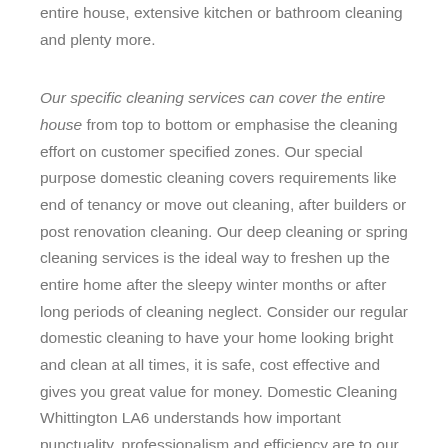entire house, extensive kitchen or bathroom cleaning and plenty more.
Our specific cleaning services can cover the entire house from top to bottom or emphasise the cleaning effort on customer specified zones. Our special purpose domestic cleaning covers requirements like end of tenancy or move out cleaning, after builders or post renovation cleaning. Our deep cleaning or spring cleaning services is the ideal way to freshen up the entire home after the sleepy winter months or after long periods of cleaning neglect. Consider our regular domestic cleaning to have your home looking bright and clean at all times, it is safe, cost effective and gives you great value for money. Domestic Cleaning Whittington LA6 understands how important punctuality, professionalism and efficiency are to our customers, because of this why we work with the most dedicated and highly qualified cleaning specialists, which ensures top results, no risk of damage or neglect, and minimum resource waste on all jobs. All services are bookable seven days